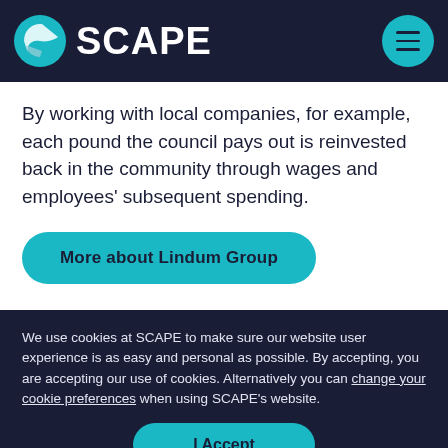SCAPE
By working with local companies, for example, each pound the council pays out is reinvested back in the community through wages and employees' subsequent spending.
More about Lindum Group
We use cookies at SCAPE to make sure our website user experience is as easy and personal as possible. By accepting, you are accepting our use of cookies. Alternatively you can change your cookie preferences when using SCAPE's website.
I Accept